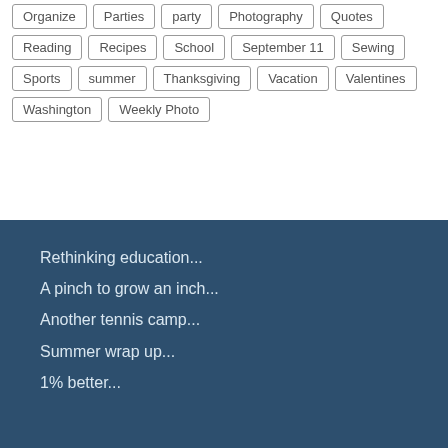Organize
Parties
party
Photography
Quotes
Reading
Recipes
School
September 11
Sewing
Sports
summer
Thanksgiving
Vacation
Valentines
Washington
Weekly Photo
Rethinking education...
A pinch to grow an inch...
Another tennis camp...
Summer wrap up...
1% better...